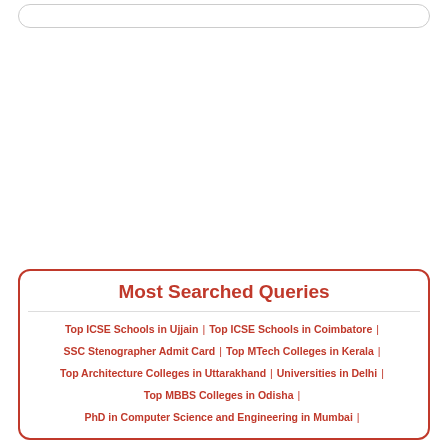[Figure (other): Search bar input field at top of page]
Most Searched Queries
Top ICSE Schools in Ujjain | Top ICSE Schools in Coimbatore | SSC Stenographer Admit Card | Top MTech Colleges in Kerala | Top Architecture Colleges in Uttarakhand | Universities in Delhi | Top MBBS Colleges in Odisha | PhD in Computer Science and Engineering in Mumbai